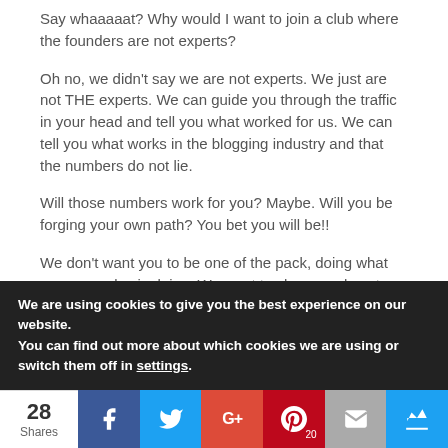Say whaaaaat? Why would I want to join a club where the founders are not experts?
Oh no, we didn't say we are not experts. We just are not THE experts. We can guide you through the traffic in your head and tell you what worked for us. We can tell you what works in the blogging industry and that the numbers do not lie.
Will those numbers work for you? Maybe. Will you be forging your own path? You bet you will be!!
We don't want you to be one of the pack, doing what everyone else is doing. We want to show you how to tap into your unique potential. That's why there are three of us
We are using cookies to give you the best experience on our website.
You can find out more about which cookies we are using or switch them off in settings.
28 Shares | Facebook | Twitter | Google+ | Pinterest 20 | Email | Crown